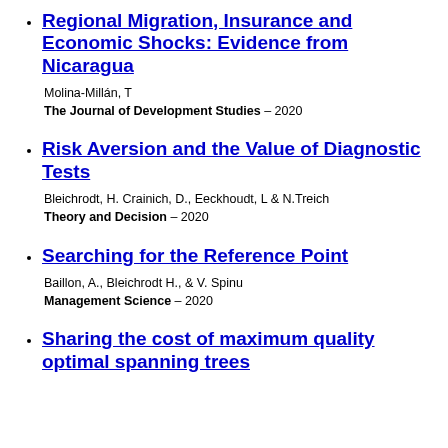Regional Migration, Insurance and Economic Shocks: Evidence from Nicaragua
Molina-Millán, T
The Journal of Development Studies – 2020
Risk Aversion and the Value of Diagnostic Tests
Bleichrodt, H. Crainich, D., Eeckhoudt, L & N.Treich
Theory and Decision – 2020
Searching for the Reference Point
Baillon, A., Bleichrodt H., & V. Spinu
Management Science – 2020
Sharing the cost of maximum quality optimal spanning trees